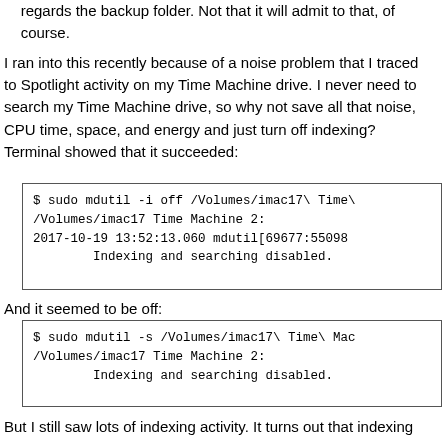regards the backup folder. Not that it will admit to that, of course.
I ran into this recently because of a noise problem that I traced to Spotlight activity on my Time Machine drive. I never need to search my Time Machine drive, so why not save all that noise, CPU time, space, and energy and just turn off indexing? Terminal showed that it succeeded:
$ sudo mdutil -i off /Volumes/imac17\ Time\
/Volumes/imac17 Time Machine 2:
2017-10-19 13:52:13.060 mdutil[69677:55098
        Indexing and searching disabled.
And it seemed to be off:
$ sudo mdutil -s /Volumes/imac17\ Time\ Mac
/Volumes/imac17 Time Machine 2:
        Indexing and searching disabled.
But I still saw lots of indexing activity. It turns out that indexing